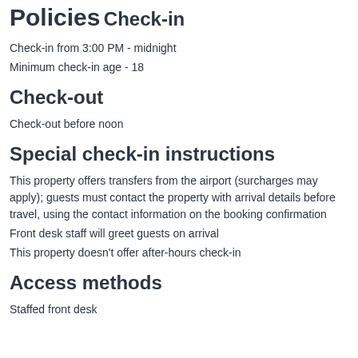Policies
Check-in
Check-in from 3:00 PM - midnight
Minimum check-in age - 18
Check-out
Check-out before noon
Special check-in instructions
This property offers transfers from the airport (surcharges may apply); guests must contact the property with arrival details before travel, using the contact information on the booking confirmation
Front desk staff will greet guests on arrival
This property doesn't offer after-hours check-in
Access methods
Staffed front desk